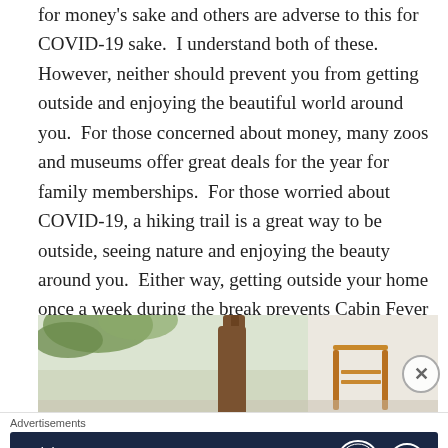for money's sake and others are adverse to this for COVID-19 sake.  I understand both of these.  However, neither should prevent you from getting outside and enjoying the beautiful world around you.  For those concerned about money, many zoos and museums offer great deals for the year for family memberships.  For those worried about COVID-19, a hiking trail is a great way to be outside, seeing nature and enjoying the beauty around you.  Either way, getting outside your home once a week during the break prevents Cabin Fever from setting in and taking over.
[Figure (photo): Partial photo showing indoor scene with plants, a tree trunk or branch, a wooden chair, and white fabric/bedding in the background.]
Advertisements
[Figure (infographic): Advertisement banner with dark navy background reading 'Opinions. We all have them!' with WordPress logo and another circular logo on the right.]